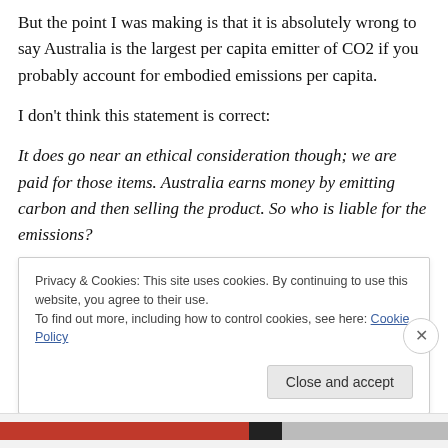But the point I was making is that it is absolutely wrong to say Australia is the largest per capita emitter of CO2 if you probably account for embodied emissions per capita.
I don't think this statement is correct:
It does go near an ethical consideration though; we are paid for those items. Australia earns money by emitting carbon and then selling the product. So who is liable for the emissions?
Privacy & Cookies: This site uses cookies. By continuing to use this website, you agree to their use.
To find out more, including how to control cookies, see here: Cookie Policy